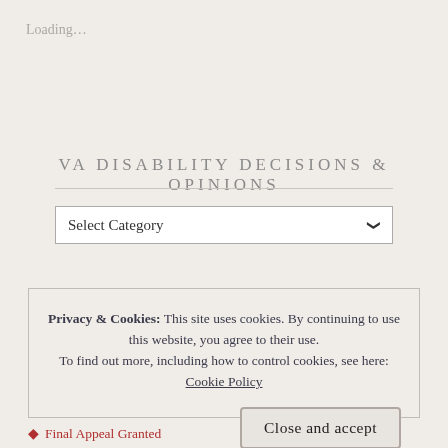Loading…
VA DISABILITY DECISIONS & OPINIONS
Select Category
Privacy & Cookies: This site uses cookies. By continuing to use this website, you agree to their use. To find out more, including how to control cookies, see here: Cookie Policy
Close and accept
Final Appeal Granted